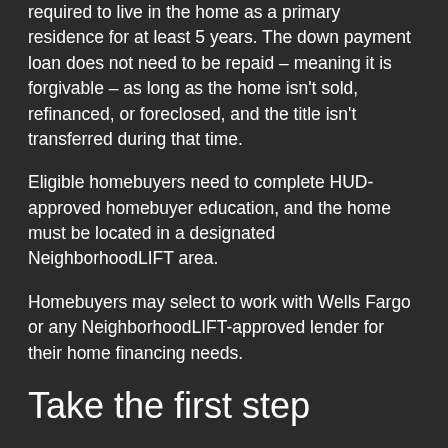required to live in the home as a primary residence for at least 5 years. The down payment loan does not need to be repaid – meaning it is forgivable – as long as the home isn't sold, refinanced, or foreclosed, and the title isn't transferred during that time.
Eligible homebuyers need to complete HUD-approved homebuyer education, and the home must be located in a designated NeighborhoodLIFT area.
Homebuyers may select to work with Wells Fargo or any NeighborhoodLIFT-approved lender for their home financing needs.
Take the first step
Learn about homeownership, the NeighborhoodLIFT